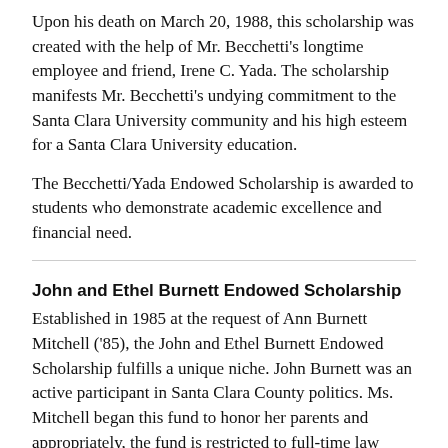Upon his death on March 20, 1988, this scholarship was created with the help of Mr. Becchetti's longtime employee and friend, Irene C. Yada. The scholarship manifests Mr. Becchetti's undying commitment to the Santa Clara University community and his high esteem for a Santa Clara University education.
The Becchetti/Yada Endowed Scholarship is awarded to students who demonstrate academic excellence and financial need.
John and Ethel Burnett Endowed Scholarship
Established in 1985 at the request of Ann Burnett Mitchell ('85), the John and Ethel Burnett Endowed Scholarship fulfills a unique niche. John Burnett was an active participant in Santa Clara County politics. Ms. Mitchell began this fund to honor her parents and appropriately, the fund is restricted to full-time law students who are single parents.